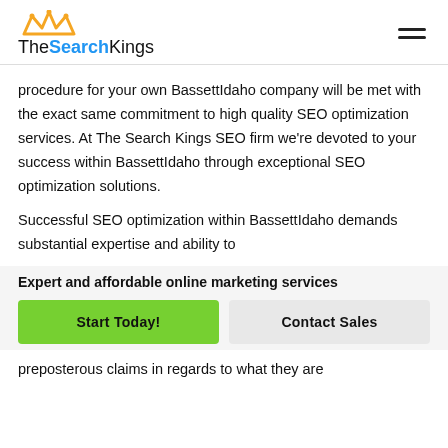TheSearchKings
procedure for your own BassettIdaho company will be met with the exact same commitment to high quality SEO optimization services. At The Search Kings SEO firm we're devoted to your success within BassettIdaho through exceptional SEO optimization solutions.
Successful SEO optimization within BassettIdaho demands substantial expertise and ability to
Expert and affordable online marketing services
Start Today!
Contact Sales
preposterous claims in regards to what they are